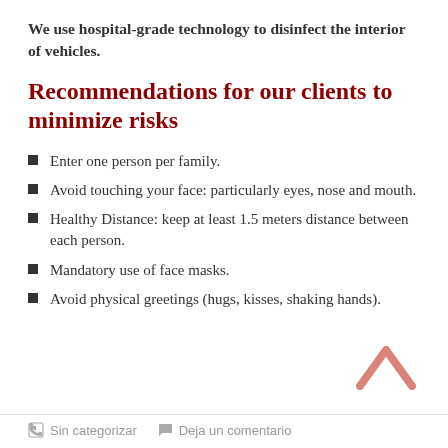We use hospital-grade technology to disinfect the interior of vehicles.
Recommendations for our clients to minimize risks
Enter one person per family.
Avoid touching your face: particularly eyes, nose and mouth.
Healthy Distance: keep at least 1.5 meters distance between each person.
Mandatory use of face masks.
Avoid physical greetings (hugs, kisses, shaking hands).
Sin categorizar   Deja un comentario